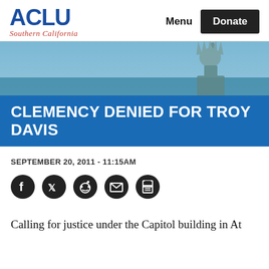[Figure (logo): ACLU Southern California logo — blue bold ACLU wordmark with red italic 'Southern California' subtitle]
Menu   Donate
[Figure (photo): Statue of Liberty photograph against a blue sky, used as hero image background]
CLEMENCY DENIED FOR TROY DAVIS
SEPTEMBER 20, 2011 - 11:15AM
[Figure (infographic): Social share icons row: Facebook, Twitter, Reddit, Email, Print]
Calling for justice under the Capitol building in At